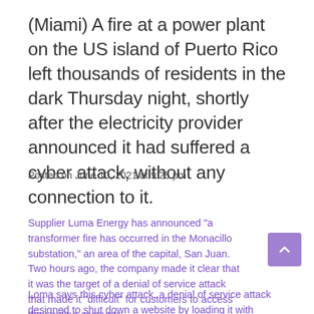(Miami) A fire at a power plant on the US island of Puerto Rico left thousands of residents in the dark Thursday night, shortly after the electricity provider announced it had suffered a cyber attack, without any connection to it.
Posted on June 10, 2021 at 9:25 pm
Supplier Luma Energy has announced "a transformer fire has occurred in the Monacillo substation," an area of the capital, San Juan. Two hours ago, the company made it clear that it was the target of a denial of service attack that made it "difficult" for customers to access their online accounts.
Loma says this cyber attack, a denial of service attack designed to shut down a website by loading it with